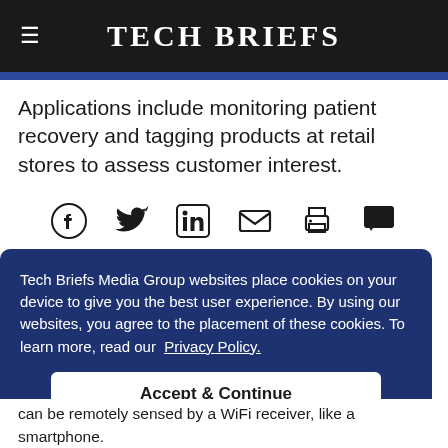Tech Briefs
Applications include monitoring patient recovery and tagging products at retail stores to assess customer interest.
[Figure (other): Social share icons row: Facebook, Twitter, LinkedIn, Email, Print, Comment]
Tech Briefs Media Group websites place cookies on your device to give you the best user experience. By using our websites, you agree to the placement of these cookies. To learn more, read our Privacy Policy.
...ached Things foil t WiFi radio ne y that can be remotely sensed by a WiFi receiver, like a smartphone.